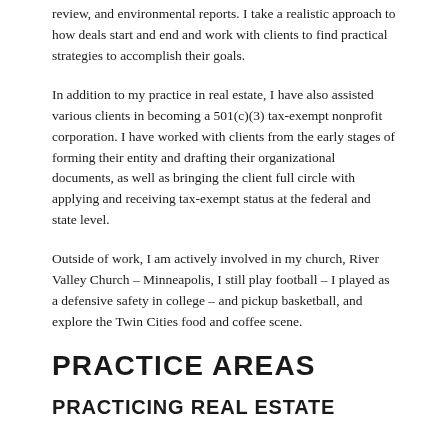review, and environmental reports. I take a realistic approach to how deals start and end and work with clients to find practical strategies to accomplish their goals.
In addition to my practice in real estate, I have also assisted various clients in becoming a 501(c)(3) tax-exempt nonprofit corporation. I have worked with clients from the early stages of forming their entity and drafting their organizational documents, as well as bringing the client full circle with applying and receiving tax-exempt status at the federal and state level.
Outside of work, I am actively involved in my church, River Valley Church – Minneapolis, I still play football – I played as a defensive safety in college – and pickup basketball, and explore the Twin Cities food and coffee scene.
PRACTICE AREAS
PRACTICING REAL ESTATE